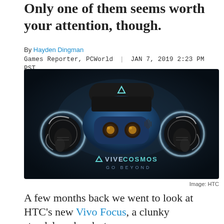Only one of them seems worth your attention, though.
By Hayden Dingman
Games Reporter, PCWorld | JAN 7, 2019 2:23 PM PST
[Figure (photo): HTC Vive Cosmos VR headset with two controllers on dark background. Logo reads: triangle VIVE COSMOS GO BEYOND]
Image: HTC
A few months back we went to look at HTC's new Vivo Focus, a clunky standalone headset